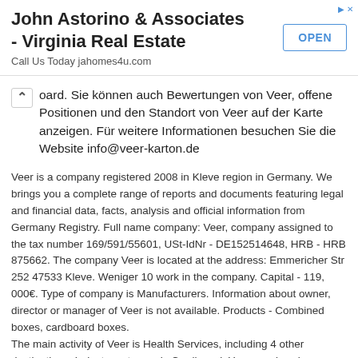[Figure (other): Advertisement banner for John Astorino & Associates - Virginia Real Estate with OPEN button]
oard. Sie können auch Bewertungen von Veer, offene Positionen und den Standort von Veer auf der Karte anzeigen. Für weitere Informationen besuchen Sie die Website info@veer-karton.de
Veer is a company registered 2008 in Kleve region in Germany. We brings you a complete range of reports and documents featuring legal and financial data, facts, analysis and official information from Germany Registry. Full name company: Veer, company assigned to the tax number 169/591/55601, USt-IdNr - DE152514648, HRB - HRB 875662. The company Veer is located at the address: Emmericher Str 252 47533 Kleve. Weniger 10 work in the company. Capital - 119, 000€. Type of company is Manufacturers. Information about owner, director or manager of Veer is not available. Products - Combined boxes, cardboard boxes.
The main activity of Veer is Health Services, including 4 other destinations. Industry category is Cardboard. You can also view reviews of Veer, open positions, location of Veer on the map. For more information, visit the site info@veer-karton.de